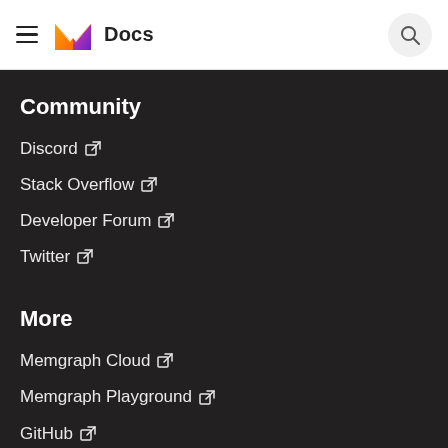Docs
Community
Discord ↗
Stack Overflow ↗
Developer Forum ↗
Twitter ↗
More
Memgraph Cloud ↗
Memgraph Playground ↗
GitHub ↗